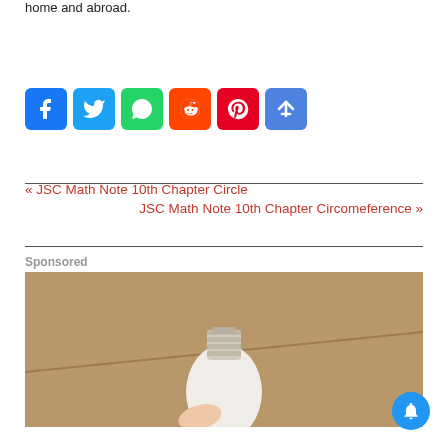home and abroad.
[Figure (other): Social media share buttons: Facebook, Twitter, WhatsApp, Reddit, Pinterest, Share]
« JSC Math Note 10th Chapter Circle
JSC Math Note 10th Chapter Circomeference »
Sponsored
[Figure (photo): A hand holding a white LED light bulb with silver screw base against a beige/cardboard background]